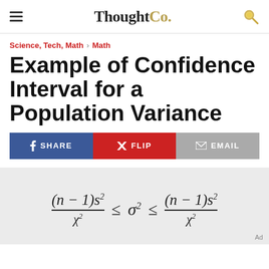ThoughtCo.
Science, Tech, Math › Math
Example of Confidence Interval for a Population Variance
SHARE  FLIP  EMAIL